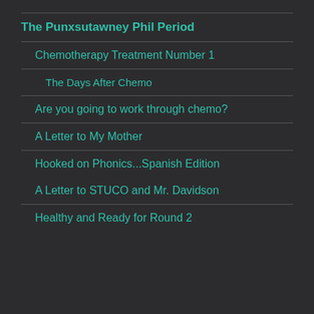The Punxsutawney Phil Period
Chemotherapy Treatment Number 1
The Days After Chemo
Are you going to work through chemo?
A Letter to My Mother
Hooked on Phonics...Spanish Edition
A Letter to STUCO and Mr. Davidson
Healthy and Ready for Round 2